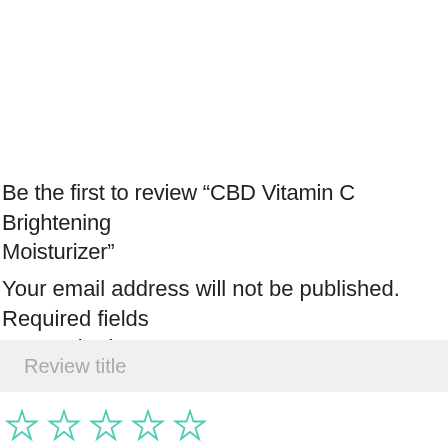Be the first to review “CBD Vitamin C Brightening Moisturizer”
Your email address will not be published. Required fields are marked *
Review title
[Figure (other): Five empty star rating icons in teal/mint outline style]